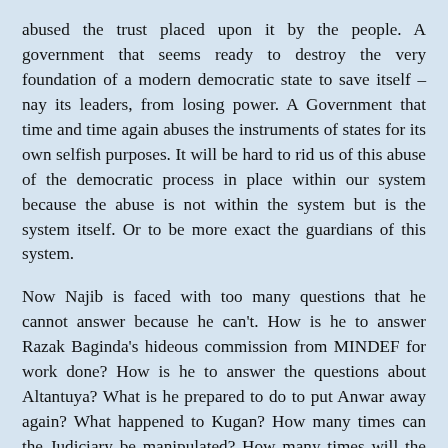abused the trust placed upon it by the people. A government that seems ready to destroy the very foundation of a modern democratic state to save itself – nay its leaders, from losing power. A Government that time and time again abuses the instruments of states for its own selfish purposes. It will be hard to rid us of this abuse of the democratic process in place within our system because the abuse is not within the system but is the system itself. Or to be more exact the guardians of this system.
Now Najib is faced with too many questions that he cannot answer because he can't. How is he to answer Razak Baginda's hideous commission from MINDEF for work done? How is he to answer the questions about Altantuya? What is he prepared to do to put Anwar away again? What happened to Kugan? How many times can the Judiciary be manipulated? How many times will the AG take instructions from the PM? Will PDRM continue to allow itself to be used time and time again in return for the